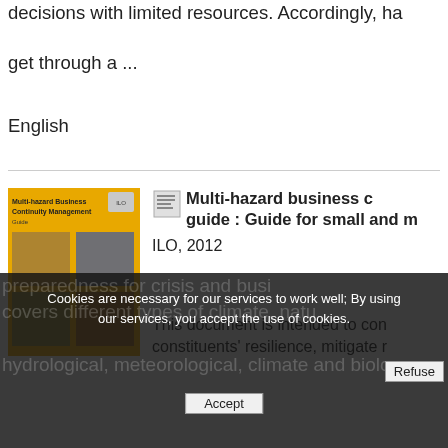decisions with limited resources. Accordingly, ha get through a ...
English
[Figure (illustration): Book cover of Multi-hazard Business Continuity Management guide, yellow/orange background with grid of photos]
Multi-hazard business continuity guide : Guide for small and m
ILO, 2012
This document is intended to con constituents' resilience, mitigate r preparedness for crisis and busi covers different types of climate, natu hydrological, meteorological, climate and biologi
Cookies are necessary for our services to work well; By using our services, you accept the use of cookies.
Refuse
Accept